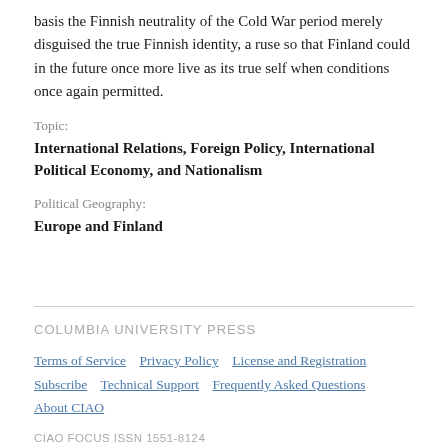basis the Finnish neutrality of the Cold War period merely disguised the true Finnish identity, a ruse so that Finland could in the future once more live as its true self when conditions once again permitted.
Topic:
International Relations, Foreign Policy, International Political Economy, and Nationalism
Political Geography:
Europe and Finland
COLUMBIA UNIVERSITY PRESS
Terms of Service    Privacy Policy    License and Registration    Subscribe    Technical Support    Frequently Asked Questions    About CIAO
CIAO FOCUS ISSN 1551-8124